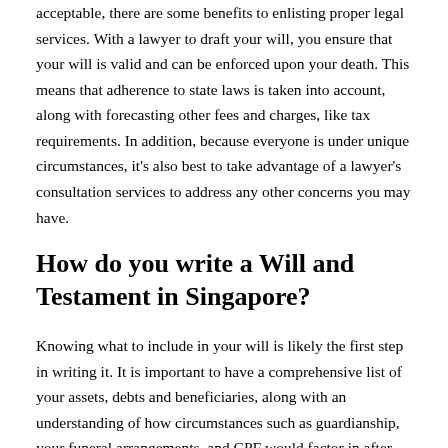acceptable, there are some benefits to enlisting proper legal services. With a lawyer to draft your will, you ensure that your will is valid and can be enforced upon your death. This means that adherence to state laws is taken into account, along with forecasting other fees and charges, like tax requirements. In addition, because everyone is under unique circumstances, it's also best to take advantage of a lawyer's consultation services to address any other concerns you may have.
How do you write a Will and Testament in Singapore?
Knowing what to include in your will is likely the first step in writing it. It is important to have a comprehensive list of your assets, debts and beneficiaries, along with an understanding of how circumstances such as guardianship, your funeral arrangements, and CPF would factor in after your